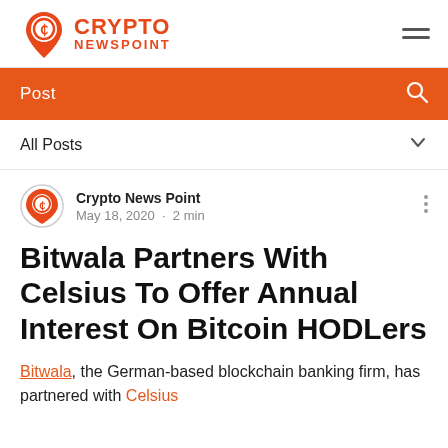Crypto Newspoint
Post
All Posts
Crypto News Point
May 18, 2020 · 2 min
Bitwala Partners With Celsius To Offer Annual Interest On Bitcoin HODLers
Bitwala, the German-based blockchain banking firm, has partnered with Celsius